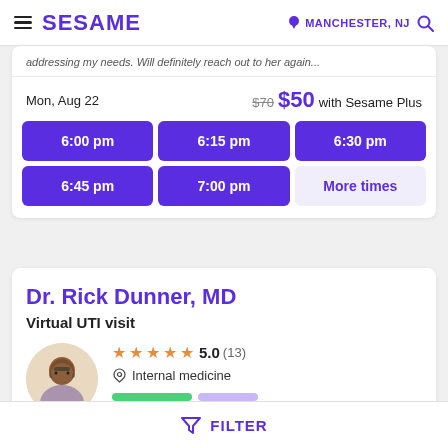SESAME | MANCHESTER, NJ
addressing my needs. Will definitely reach out to her again...
Mon, Aug 22  $70  $50 with Sesame Plus
6:00 pm
6:15 pm
6:30 pm
6:45 pm
7:00 pm
More times
Dr. Rick Dunner, MD
Virtual UTI visit
★★★★★ 5.0 (13)
Internal medicine
FILTER